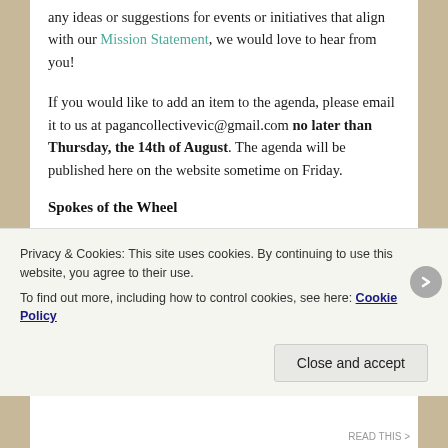any ideas or suggestions for events or initiatives that align with our Mission Statement, we would love to hear from you!
If you would like to add an item to the agenda, please email it to us at pagancollectivevic@gmail.com no later than Thursday, the 14th of August. The agenda will be published here on the website sometime on Friday.
Spokes of the Wheel
Work has already begun on the first issue of our members' e-newsletter, Spokes of the Wheel, which is due out before Ostara (mid September). We are currently seeking submissions of articles, recipes and other
Privacy & Cookies: This site uses cookies. By continuing to use this website, you agree to their use.
To find out more, including how to control cookies, see here: Cookie Policy